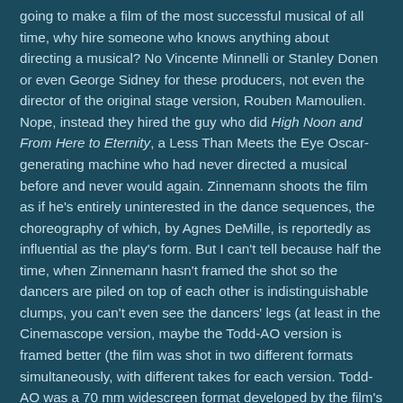going to make a film of the most successful musical of all time, why hire someone who knows anything about directing a musical? No Vincente Minnelli or Stanley Donen or even George Sidney for these producers, not even the director of the original stage version, Rouben Mamoulien. Nope, instead they hired the guy who did High Noon and From Here to Eternity, a Less Than Meets the Eye Oscar-generating machine who had never directed a musical before and never would again. Zinnemann shoots the film as if he's entirely uninterested in the dance sequences, the choreography of which, by Agnes DeMille, is reportedly as influential as the play's form. But I can't tell because half the time, when Zinnemann hasn't framed the shot so the dancers are piled on top of each other is indistinguishable clumps, you can't even see the dancers' legs (at least in the Cinemascope version, maybe the Todd-AO version is framed better (the film was shot in two different formats simultaneously, with different takes for each version. Todd-AO was a 70 mm widescreen format developed by the film's producer, Mike Todd)). Instead of using long shots with the head-to-toe framing that Fred Astaire famously insisted upon, framing that emphasizes the formal beauty of dancers in motion (the fundamental pleasure of the art form: what's the point of dancing, after all, if you can't see the body move?), Zinnemann repeatedly moves his camera in on the actors, framing them from the waist up or in 3/4 shots, apparently to heighten the dramatic emotions of the scenario, the way you would film a straight melodrama or comedy (think of Howard Hawks